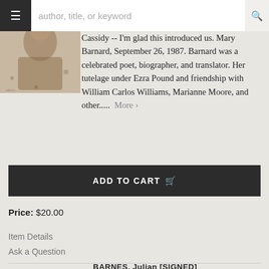[Figure (screenshot): Website search bar with hamburger menu icon on left, placeholder text 'author, title, or keyword', and search icon on right]
[Figure (photo): Black and white photograph of a woman, likely a book cover or author photo]
Cassidy -- I'm glad this introduced us. Mary Barnard, September 26, 1987. Barnard was a celebrated poet, biographer, and translator. Her tutelage under Ezra Pound and friendship with William Carlos Williams, Marianne Moore, and other.....  More
ADD TO CART
Price: $20.00
Item Details
Ask a Question
BARNES, Julian [SIGNED]